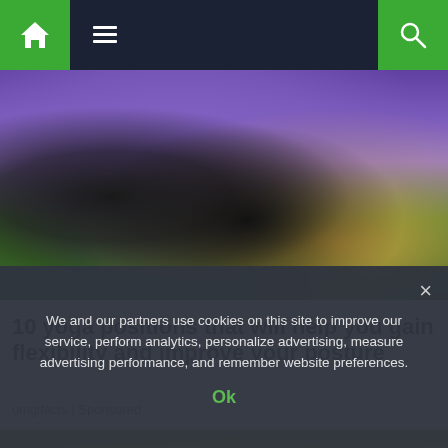Navigation bar with home icon, menu icon, and search icon
[Figure (photo): Woman doing yoga on a purple mat on green grass, wearing black pants and purple top, performing a lying pose]
10 yoga positions that will help you gain flexibility and improve your posture
omgifacts | Sponsored
[Figure (photo): Close-up of green and yellow bananas and other fruits at a market]
We and our partners use cookies on this site to improve our service, perform analytics, personalize advertising, measure advertising performance, and remember website preferences.
Ok